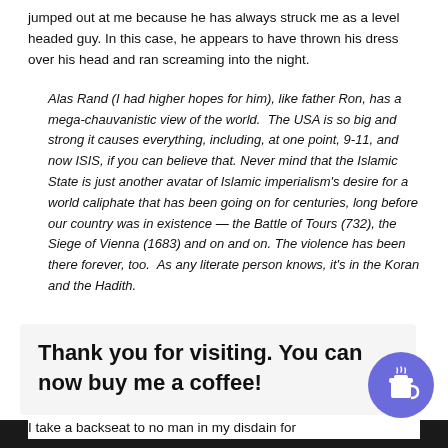jumped out at me because he has always struck me as a level headed guy. In this case, he appears to have thrown his dress over his head and ran screaming into the night.
Alas Rand (I had higher hopes for him), like father Ron, has a mega-chauvanistic view of the world.  The USA is so big and strong it causes everything, including, at one point, 9-11, and now ISIS, if you can believe that. Never mind that the Islamic State is just another avatar of Islamic imperialism's desire for a world caliphate that has been going on for centuries, long before our country was in existence — the Battle of Tours (732), the Siege of Vienna (1683) and on and on. The violence has been there forever, too.  As any literate person knows, it's in the Koran and the Hadith.
ne plan. was y
Thank you for visiting. You can now buy me a coffee!
I take a backseat to no man in my disdain for